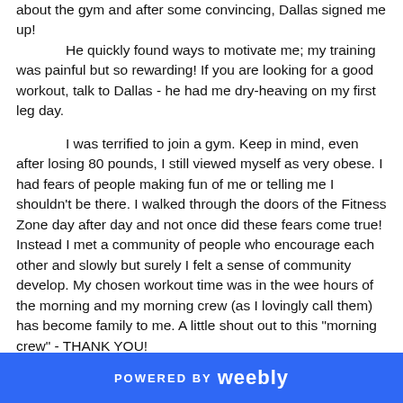about the gym and after some convincing, Dallas signed me up! He quickly found ways to motivate me; my training was painful but so rewarding! If you are looking for a good workout, talk to Dallas - he had me dry-heaving on my first leg day.
I was terrified to join a gym. Keep in mind, even after losing 80 pounds, I still viewed myself as very obese. I had fears of people making fun of me or telling me I shouldn't be there. I walked through the doors of the Fitness Zone day after day and not once did these fears come true! Instead I met a community of people who encourage each other and slowly but surely I felt a sense of community develop. My chosen workout time was in the wee hours of the morning and my morning crew (as I lovingly call them) has become family to me. A little shout out to this "morning crew" - THANK YOU!
I grew to love the gym and all that it brought me! I became addicted to working out; not only for my physical health but mental health as well. My depression was gone and I finally felt in control of my life! I was able to move from a food addiction
POWERED BY weebly